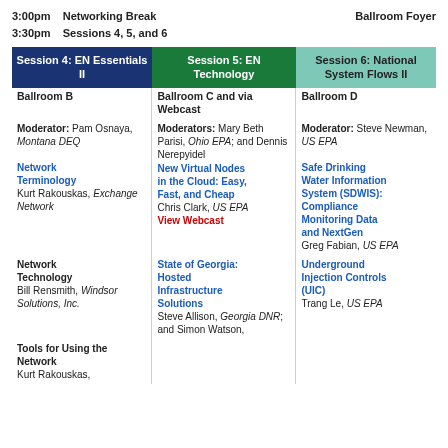3:00pm   Networking Break   Ballroom Foyer
3:30pm   Sessions 4, 5, and 6
| Session 4: EN Essentials II | Session 5: EN Technology | Session 6: National System Flows II |
| --- | --- | --- |
| Ballroom B | Ballroom C and via Webcast | Ballroom D |
| Moderator: Pam Osnaya, Montana DEQ | Moderators: Mary Beth Parisi, Ohio EPA; and Dennis Nerepyidel | Moderator: Steve Newman, US EPA |
| Network Terminology
Kurt Rakouskas, Exchange Network | New Virtual Nodes in the Cloud: Easy, Fast, and Cheap
Chris Clark, US EPA
View Webcast | Safe Drinking Water Information System (SDWIS): Compliance Monitoring Data and NextGen
Greg Fabian, US EPA |
| Network Technology
Bill Rensmith, Windsor Solutions, Inc. | State of Georgia: Hosted Infrastructure Solutions
Steve Allison, Georgia DNR; and Simon Watson, | Underground Injection Controls (UIC)
Trang Le, US EPA |
| Tools for Using the Network
Kurt Rakouskas, |  |  |